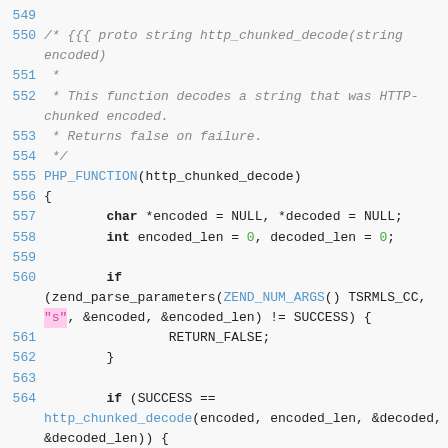Source code listing lines 549-566: http_chunked_decode PHP function implementation
549
550 /* {{{ proto string http_chunked_decode(string encoded)
551  *
552  * This function decodes a string that was HTTP-chunked encoded.
553  * Returns false on failure.
554  */
555 PHP_FUNCTION(http_chunked_decode)
556 {
557         char *encoded = NULL, *decoded = NULL;
558         int encoded_len = 0, decoded_len = 0;
559
560         if (zend_parse_parameters(ZEND_NUM_ARGS() TSRMLS_CC, "s", &encoded, &encoded_len) != SUCCESS) {
561                 RETURN_FALSE;
562         }
563
564         if (SUCCESS == http_chunked_decode(encoded, encoded_len, &decoded, &decoded_len)) {
565                 RETURN_STRINGL(decoded, decoded_len, 0);
566         } else {